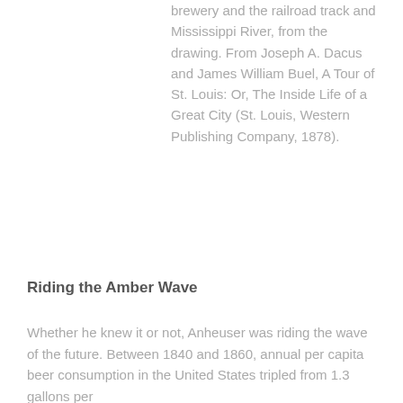brewery and the railroad track and Mississippi River, from the drawing. From Joseph A. Dacus and James William Buel, A Tour of St. Louis: Or, The Inside Life of a Great City (St. Louis, Western Publishing Company, 1878).
Riding the Amber Wave
Whether he knew it or not, Anheuser was riding the wave of the future. Between 1840 and 1860, annual per capita beer consumption in the United States tripled from 1.3 gallons per